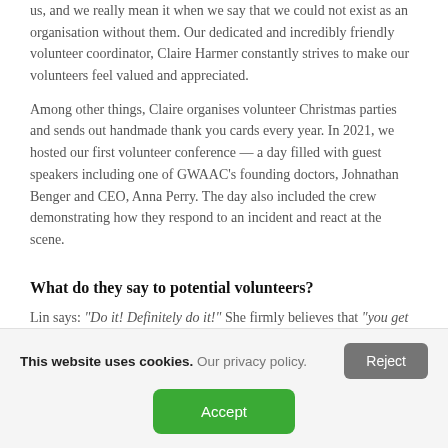us, and we really mean it when we say that we could not exist as an organisation without them. Our dedicated and incredibly friendly volunteer coordinator, Claire Harmer constantly strives to make our volunteers feel valued and appreciated.
Among other things, Claire organises volunteer Christmas parties and sends out handmade thank you cards every year. In 2021, we hosted our first volunteer conference — a day filled with guest speakers including one of GWAAC's founding doctors, Johnathan Benger and CEO, Anna Perry. The day also included the crew demonstrating how they respond to an incident and react at the scene.
What do they say to potential volunteers?
Lin says: "Do it! Definitely do it!" She firmly believes that "you get
This website uses cookies. Our privacy policy.
Reject
Accept